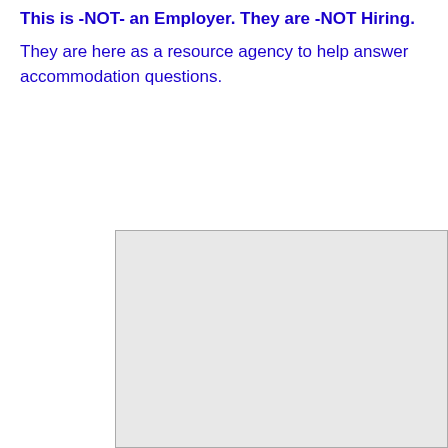This is -NOT- an Employer. They are -NOT Hiring.
They are here as a resource agency to help answer accommodation questions.
[Figure (other): A large gray box with a light gray background and a gray border, appearing as a placeholder or embedded content area.]